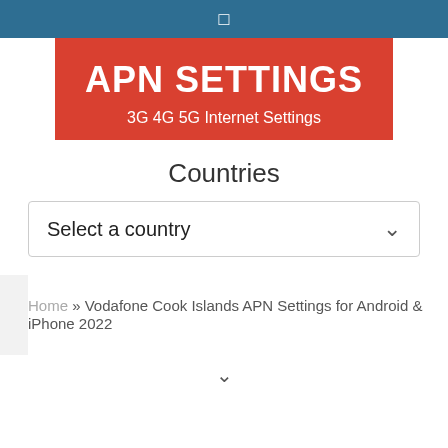□
APN SETTINGS
3G 4G 5G Internet Settings
Countries
Select a country
Home » Vodafone Cook Islands APN Settings for Android & iPhone 2022